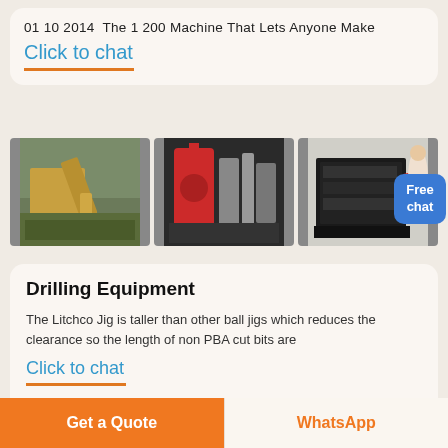01 10 2014  The 1 200 Machine That Lets Anyone Make
Click to chat
[Figure (photo): Three industrial machinery photos: excavator/quarry equipment, red industrial boiler/plant machinery, and black large crusher machine in a factory hall. A person in white is partially visible on the right edge.]
Drilling Equipment
The Litchco Jig is taller than other ball jigs which reduces the clearance so the length of non PBA cut bits are
Click to chat
Get a Quote
WhatsApp